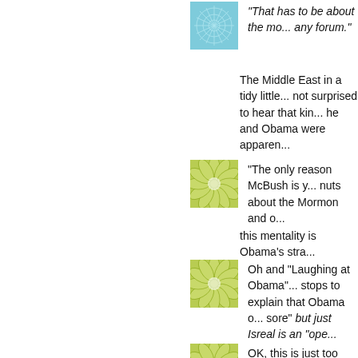[Figure (illustration): Blue decorative floral/snowflake avatar thumbnail]
"That has to be about the mo... any forum."
The Middle East in a tidy little... not surprised to hear that kin... he and Obama were apparen...
[Figure (illustration): Green decorative floral/snowflake avatar thumbnail]
"The only reason McBush is y... nuts about the Mormon and o...
this mentality is Obama's stra...
[Figure (illustration): Green decorative floral/snowflake avatar thumbnail]
Oh and "Laughing at Obama"... stops to explain that Obama o... sore" but just Isreal is an "ope...
[Figure (illustration): Green decorative floral/snowflake avatar thumbnail]
OK, this is just too funny and... 2001 as NOT being a threa...